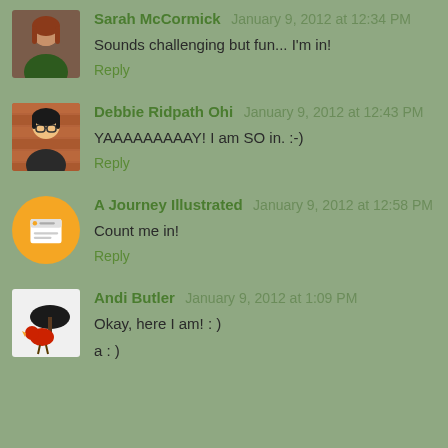Sarah McCormick January 9, 2012 at 12:34 PM
Sounds challenging but fun... I'm in!
Reply
Debbie Ridpath Ohi January 9, 2012 at 12:43 PM
YAAAAAAAAY! I am SO in. :-)
Reply
A Journey Illustrated January 9, 2012 at 12:58 PM
Count me in!
Reply
Andi Butler January 9, 2012 at 1:09 PM
Okay, here I am! : )

a : )